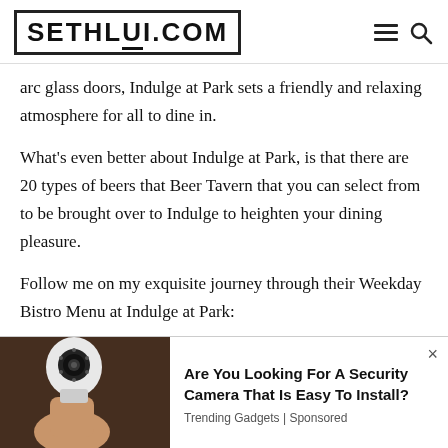SETHLUI.COM
arc glass doors, Indulge at Park sets a friendly and relaxing atmosphere for all to dine in.
What's even better about Indulge at Park, is that there are 20 types of beers that Beer Tavern that you can select from to be brought over to Indulge to heighten your dining pleasure.
Follow me on my exquisite journey through their Weekday Bistro Menu at Indulge at Park:
[Figure (photo): Hand holding a light-bulb shaped security camera device against a dark background]
Are You Looking For A Security Camera That Is Easy To Install? Trending Gadgets | Sponsored